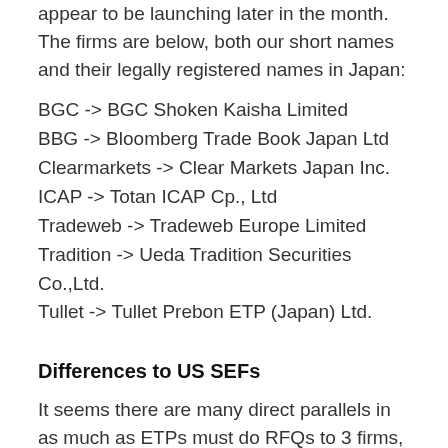appear to be launching later in the month. The firms are below, both our short names and their legally registered names in Japan:
BGC -> BGC Shoken Kaisha Limited
BBG -> Bloomberg Trade Book Japan Ltd
Clearmarkets -> Clear Markets Japan Inc.
ICAP -> Totan ICAP Cp., Ltd
Tradeweb -> Tradeweb Europe Limited
Tradition -> Ueda Tradition Securities Co.,Ltd.
Tullet -> Tullet Prebon ETP (Japan) Ltd.
Differences to US SEFs
It seems there are many direct parallels in as much as ETPs must do RFQs to 3 firms, and both electronic and voice is permitted.
A couple unique characteristics that I have noticed: